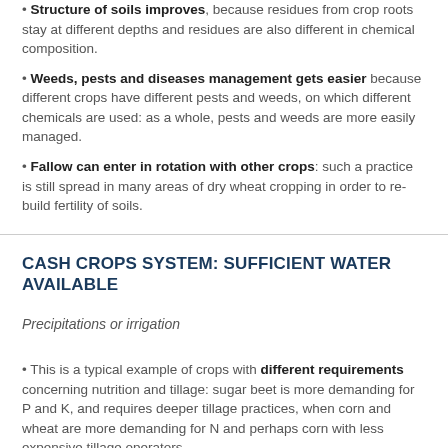Structure of soils improves, because residues from crop roots stay at different depths and residues are also different in chemical composition.
Weeds, pests and diseases management gets easier because different crops have different pests and weeds, on which different chemicals are used: as a whole, pests and weeds are more easily managed.
Fallow can enter in rotation with other crops: such a practice is still spread in many areas of dry wheat cropping in order to re-build fertility of soils.
CASH CROPS SYSTEM: SUFFICIENT WATER AVAILABLE
Precipitations or irrigation
This is a typical example of crops with different requirements concerning nutrition and tillage: sugar beet is more demanding for P and K, and requires deeper tillage practices, when corn and wheat are more demanding for N and perhaps corn with less expensive tillage operators.